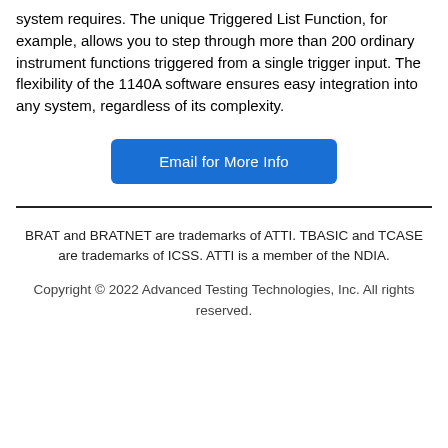system requires. The unique Triggered List Function, for example, allows you to step through more than 200 ordinary instrument functions triggered from a single trigger input. The flexibility of the 1140A software ensures easy integration into any system, regardless of its complexity.
[Figure (other): Blue button labeled 'Email for More Info']
BRAT and BRATNET are trademarks of ATTI. TBASIC and TCASE are trademarks of ICSS. ATTI is a member of the NDIA.

Copyright © 2022 Advanced Testing Technologies, Inc. All rights reserved.